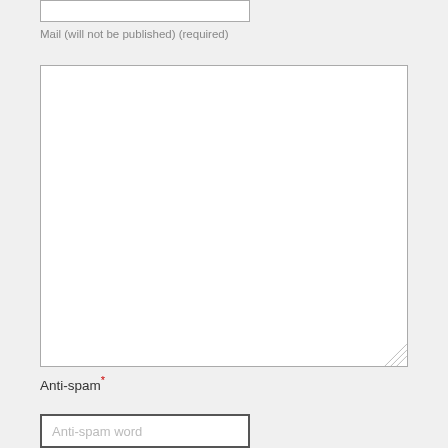Mail (will not be published) (required)
[Figure (screenshot): Large empty textarea input box for comment/message entry]
Anti-spam*
[Figure (screenshot): Text input field with placeholder text 'Anti-spam word']